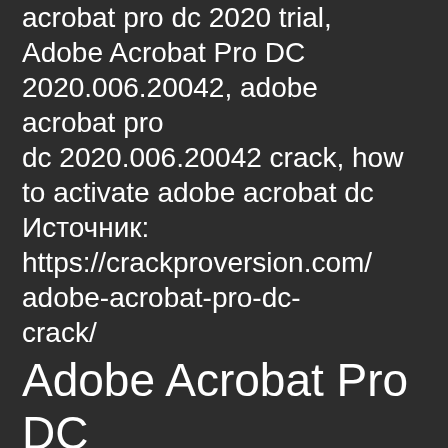acrobat pro dc 2020 trial, Adobe Acrobat Pro DC 2020.006.20042, adobe acrobat pro dc 2020.006.20042 crack, how to activate adobe acrobat dc Источник: https://crackproversion.com/adobe-acrobat-pro-dc-crack/
Adobe Acrobat Pro DC 2021.007.20099